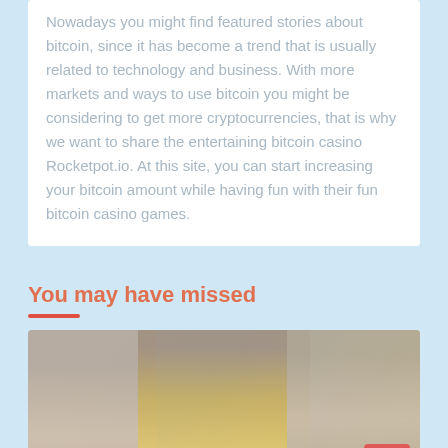Nowadays you might find featured stories about bitcoin, since it has become a trend that is usually related to technology and business. With more markets and ways to use bitcoin you might be considering to get more cryptocurrencies, that is why we want to share the entertaining bitcoin casino Rocketpot.io. At this site, you can start increasing your bitcoin amount while having fun with their fun bitcoin casino games.
You may have missed
[Figure (photo): Photo of three people showing their fingers, the center person wearing glasses and a yellow shirt]